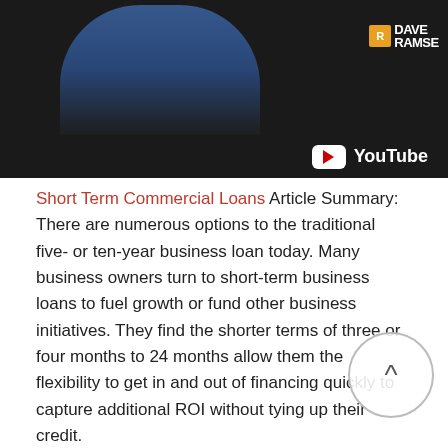[Figure (screenshot): YouTube video thumbnail showing a man in a blue shirt with Dave Ramsey branding in the top right corner and YouTube logo/play button in the bottom right of the video area.]
Short Term Commercial Loans Article Summary: There are numerous options to the traditional five- or ten-year business loan today. Many business owners turn to short-term business loans to fuel growth or fund other business initiatives. They find the shorter terms of three or four months to 24 months allow them the flexibility to get in and out of financing quickly to capture additional ROI without tying up their credit.
FHA mortgage calculators compute monthly payments with estimated taxes and. fha loans let homebuyers purchase homes with low down payments and.
A down payment is the amount of money that you put towards